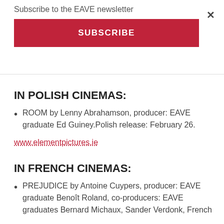Subscribe to the EAVE newsletter
SUBSCRIBE
IN POLISH CINEMAS:
ROOM by Lenny Abrahamson, producer: EAVE graduate Ed Guiney.Polish release: February 26.
www.elementpictures.ie
IN FRENCH CINEMAS:
PREJUDICE by Antoine Cuypers, producer: EAVE graduate Benoît Roland, co-producers: EAVE graduates Bernard Michaux, Sander Verdonk, French